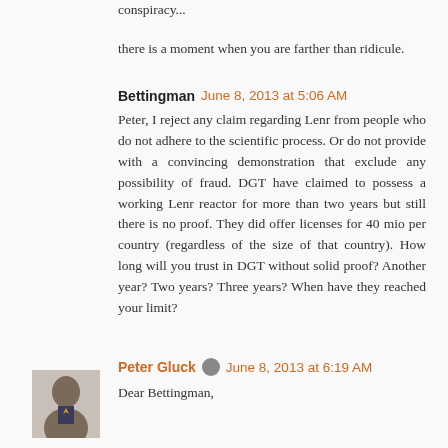conspiracy...
there is a moment when you are farther than ridicule.
Bettingman  June 8, 2013 at 5:06 AM
Peter, I reject any claim regarding Lenr from people who do not adhere to the scientific process. Or do not provide with a convincing demonstration that exclude any possibility of fraud. DGT have claimed to possess a working Lenr reactor for more than two years but still there is no proof. They did offer licenses for 40 mio per country (regardless of the size of that country). How long will you trust in DGT without solid proof? Another year? Two years? Three years? When have they reached your limit?
Peter Gluck  June 8, 2013 at 6:19 AM
Dear Bettingman,